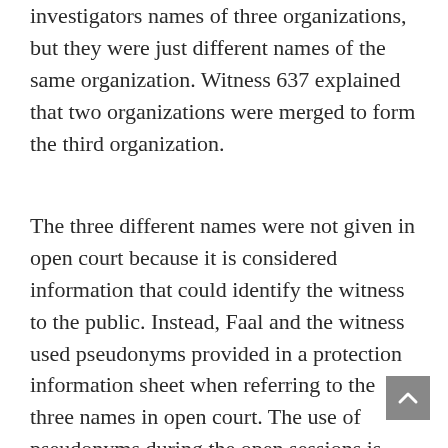investigators names of three organizations, but they were just different names of the same organization. Witness 637 explained that two organizations were merged to form the third organization.
The three different names were not given in open court because it is considered information that could identify the witness to the public. Instead, Faal and the witness used pseudonyms provided in a protection information sheet when referring to the three names in open court. The use of pseudonyms during the open sessions is one of the measures the court has ordered to protect the identity of the witness.